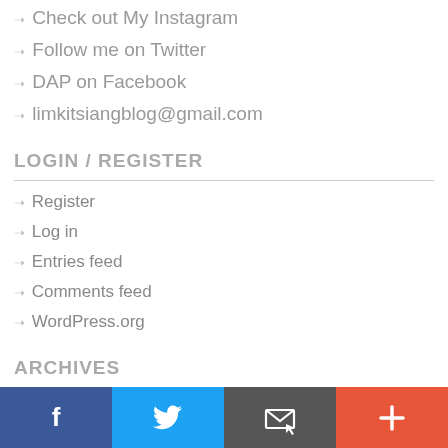Check out My Instagram
Follow me on Twitter
DAP on Facebook
limkitsiangblog@gmail.com
LOGIN / REGISTER
Register
Log in
Entries feed
Comments feed
WordPress.org
ARCHIVES
Select Month
CATEGORIES
[Figure (infographic): Social media footer bar with four buttons: Facebook (blue), Twitter (light blue), Email/envelope (dark gray), and plus/add (orange-red)]